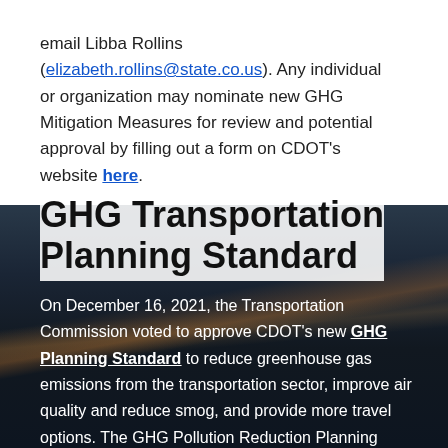email Libba Rollins (elizabeth.rollins@state.co.us). Any individual or organization may nominate new GHG Mitigation Measures for review and potential approval by filling out a form on CDOT's website here.
GHG Transportation Planning Standard
On December 16, 2021, the Transportation Commission voted to approve CDOT's new GHG Planning Standard to reduce greenhouse gas emissions from the transportation sector, improve air quality and reduce smog, and provide more travel options. The GHG Pollution Reduction Planning Standard is one of several transportation strategies